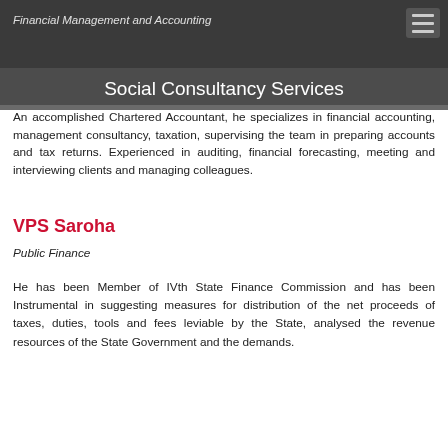Financial Management and Accounting
Social Consultancy Services
An accomplished Chartered Accountant, he specializes in financial accounting, management consultancy, taxation, supervising the team in preparing accounts and tax returns. Experienced in auditing, financial forecasting, meeting and interviewing clients and managing colleagues.
VPS Saroha
Public Finance
He has been Member of IVth State Finance Commission and has been Instrumental in suggesting measures for distribution of the net proceeds of taxes, duties, tools and fees leviable by the State, analysed the revenue resources of the State Government and the demands.